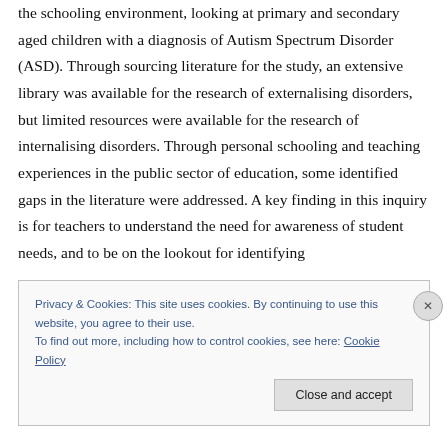the schooling environment, looking at primary and secondary aged children with a diagnosis of Autism Spectrum Disorder (ASD). Through sourcing literature for the study, an extensive library was available for the research of externalising disorders, but limited resources were available for the research of internalising disorders. Through personal schooling and teaching experiences in the public sector of education, some identified gaps in the literature were addressed. A key finding in this inquiry is for teachers to understand the need for awareness of student needs, and to be on the lookout for identifying
Privacy & Cookies: This site uses cookies. By continuing to use this website, you agree to their use.
To find out more, including how to control cookies, see here: Cookie Policy